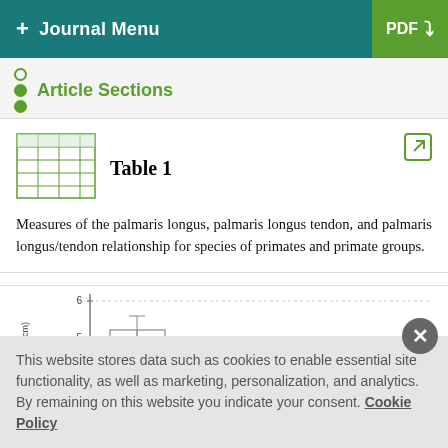+ Journal Menu  PDF
Article Sections
Table 1
Measures of the palmaris longus, palmaris longus tendon, and palmaris longus/tendon relationship for species of primates and primate groups.
[Figure (continuous-plot): Box plot showing tendon (cm) measurements on the y-axis ranging from approximately 4 to 6, with two box plots visible. The left box plot shows values around 5 cm, and a second box plot partially visible at the right shows lower values around 3.5-4 cm.]
This website stores data such as cookies to enable essential site functionality, as well as marketing, personalization, and analytics. By remaining on this website you indicate your consent. Cookie Policy